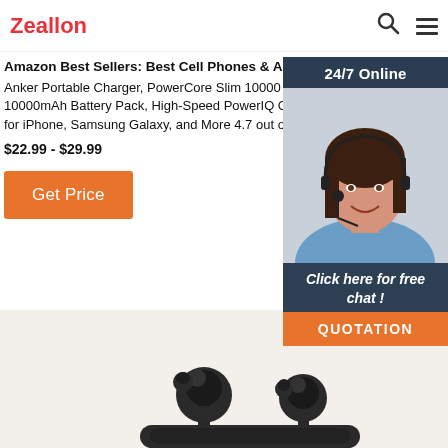Zeallon
Amazon Best Sellers: Best Cell Phones & Accessories
Anker Portable Charger, PowerCore Slim 10000 Power Bank, 10000mAh Battery Pack, High-Speed PowerIQ Charging Technology, for iPhone, Samsung Galaxy, and More 4.7 out of 5 $22.99 - $29.99
Get Price
[Figure (photo): 24/7 Online customer service agent - woman with headset smiling, with 'Click here for free chat!' text and QUOTATION button below]
[Figure (photo): Black wireless earbuds (true wireless earphones) shown on a light beige/cream background, partially cropped at bottom of page]